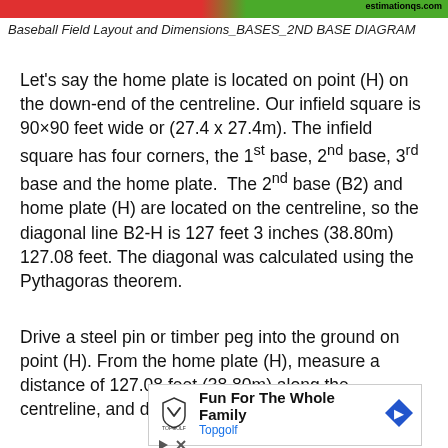estimationqs.com
Baseball Field Layout and Dimensions_BASES_2ND BASE DIAGRAM
Let’s say the home plate is located on point (H) on the down-end of the centreline. Our infield square is 90×90 feet wide or (27.4 x 27.4m). The infield square has four corners, the 1st base, 2nd base, 3rd base and the home plate. The 2nd base (B2) and home plate (H) are located on the centreline, so the diagonal line B2-H is 127 feet 3 inches (38.80m) 127.08 feet. The diagonal was calculated using the Pythagoras theorem.
Drive a steel pin or timber peg into the ground on point (H). From the home plate (H), measure a distance of 127.08 feet (38.80m) along the centreline, and drive another peg
[Figure (other): Advertisement for Topgolf: Fun For The Whole Family. Shows Topgolf logo and a directional sign arrow icon.]